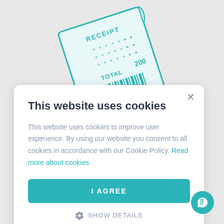[Figure (illustration): Teal/turquoise illustrated receipt with RECEIPT heading, asterisk lines, TOTAL 200, and a barcode at the bottom, shown at an angle]
This website uses cookies
This website uses cookies to improve user experience. By using our website you consent to all cookies in accordance with our Cookie Policy. Read more about cookies
I AGREE
SHOW DETAILS